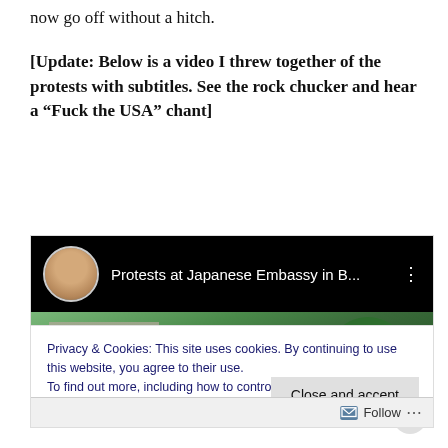now go off without a hitch.
[Update: Below is a video I threw together of the protests with subtitles. See the rock chucker and hear a “Fuck the USA” chant]
[Figure (screenshot): YouTube video thumbnail showing 'Protests at Japanese Embassy in B...' with a man's avatar photo on black header bar, and a thumbnail image of a building with trees]
Privacy & Cookies: This site uses cookies. By continuing to use this website, you agree to their use.
To find out more, including how to control cookies, see here: Cookie Policy
Close and accept
Follow